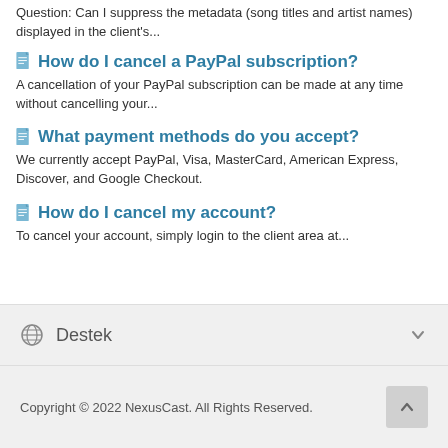Question: Can I suppress the metadata (song titles and artist names) displayed in the client's...
How do I cancel a PayPal subscription? A cancellation of your PayPal subscription can be made at any time without cancelling your...
What payment methods do you accept? We currently accept PayPal, Visa, MasterCard, American Express, Discover, and Google Checkout.
How do I cancel my account? To cancel your account, simply login to the client area at...
Destek
Copyright © 2022 NexusCast. All Rights Reserved.